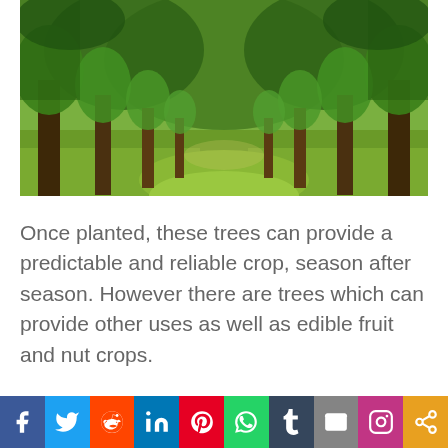[Figure (photo): Photograph of an orchard with rows of fruit/nut trees on both sides creating a corridor, with green grass ground cover between the rows and dappled sunlight filtering through the dense tree canopy.]
Once planted, these trees can provide a predictable and reliable crop, season after season. However there are trees which can provide other uses as well as edible fruit and nut crops.
[Figure (other): Social media sharing bar with icons for Facebook, Twitter, Reddit, LinkedIn, Pinterest, WhatsApp, Tumblr, Email, Instagram, and Share.]